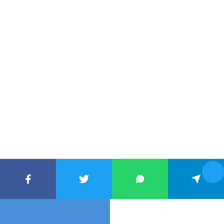Source – Newsgram
“I wanted to build a house here and have an apple orchard next to it.
[Figure (screenshot): Social media share bar with Facebook, Twitter, WhatsApp, and Telegram buttons]